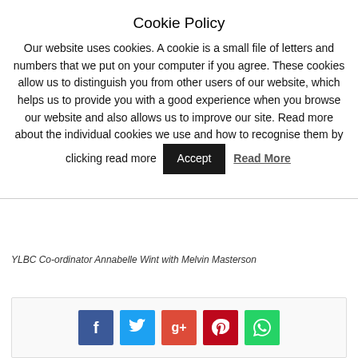Cookie Policy
Our website uses cookies. A cookie is a small file of letters and numbers that we put on your computer if you agree. These cookies allow us to distinguish you from other users of our website, which helps us to provide you with a good experience when you browse our website and also allows us to improve our site. Read more about the individual cookies we use and how to recognise them by clicking read more
YLBC Co-ordinator Annabelle Wint with Melvin Masterson
[Figure (infographic): Social media share buttons: Facebook (blue), Twitter (light blue), Google+ (orange-red), Pinterest (dark red), WhatsApp (green)]